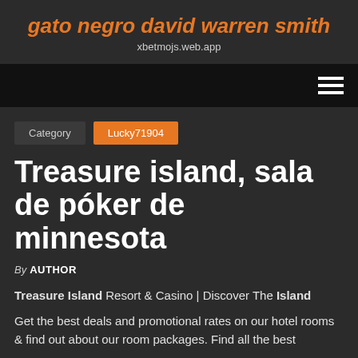gato negro david warren smith
xbetmojs.web.app
Category  Lucky71904
Treasure island, sala de póker de minnesota
By AUTHOR
Treasure Island Resort & Casino | Discover The Island
Get the best deals and promotional rates on our hotel rooms & find out about our room packages. Find all the best